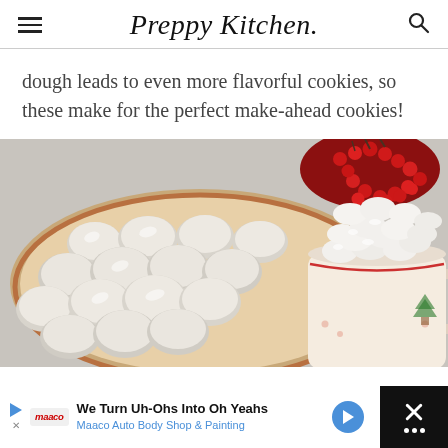Preppy Kitchen
dough leads to even more flavorful cookies, so these make for the perfect make-ahead cookies!
[Figure (photo): A decorative plate filled with round powdered sugar cookies next to a mug filled with mini marshmallows, with red berries in the background on a grey surface.]
We Turn Uh-Ohs Into Oh Yeahs Maaco Auto Body Shop & Painting